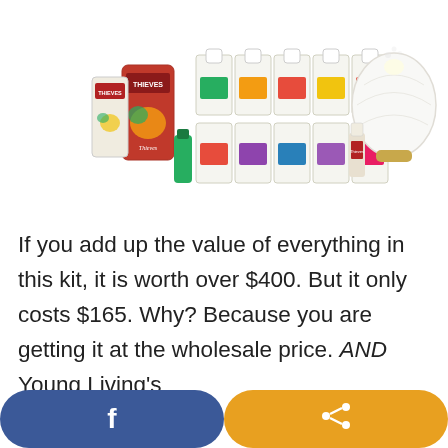[Figure (photo): Young Living essential oils starter kit product photo showing Thieves products, multiple essential oil bottles in boxes, small bottles, and a white ceramic diffuser with gold base]
If you add up the value of everything in this kit, it is worth over $400. But it only costs $165. Why? Because you are getting it at the wholesale price. AND Young Living's